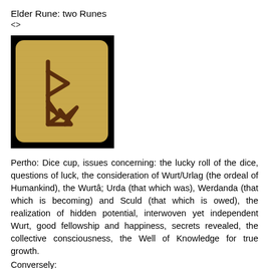Elder Rune: two Runes
<>
[Figure (photo): A wooden tile with a rune symbol (Pertho) carved or painted in dark brown on a golden/tan wood-textured background, set against a black border.]
Pertho: Dice cup, issues concerning: the lucky roll of the dice, questions of luck, the consideration of Wurt/Urlag (the ordeal of Humankind), the Wurtâ; Urda (that which was), Werdanda (that which is becoming) and Sculd (that which is owed), the realization of hidden potential, interwoven yet independent Wurt, good fellowship and happiness, secrets revealed, the collective consciousness, the Well of Knowledge for true growth.
Conversely:
The presence of negative Wurt, an unlucky roll of the dice, bad luck, secrets remaining secret, delusions, fantasies, megalomania, outside